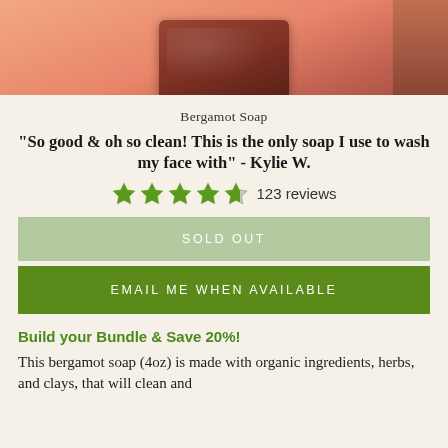[Figure (photo): Product photo of a dark reddish-brown bergamot soap bar on a peach/orange background with a brown accent on the right side]
Bergamot Soap
"So good & oh so clean! This is the only soap I use to wash my face with" - Kylie W.
123 reviews
SOLD OUT
EMAIL ME WHEN AVAILABLE
Build your Bundle & Save 20%!
This bergamot soap (4oz) is made with organic ingredients, herbs, and clays, that will clean and